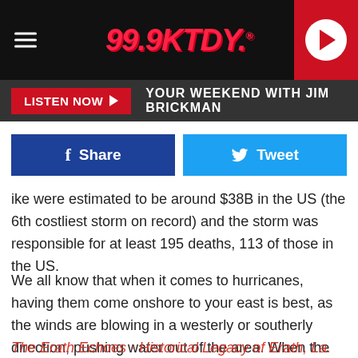99.9 KTDY
[Figure (logo): 99.9 KTDY radio station logo in red italic text on black header bar with hamburger menu and red play button]
LISTEN NOW ▶  YOUR WEEKEND WITH JIM BRICKMAN
[Figure (infographic): Facebook Share button and Twitter Tweet button side by side]
ike were estimated to be around $38B in the US (the 6th costliest storm on record) and the storm was responsible for at least 195 deaths, 113 of those in the US.
We all know that when it comes to hurricanes, having them come onshore to your east is best, as the winds are blowing in a westerly or southerly direction, pushing water out of the area. When the hurricanes hit to our west, we are more prone to the storm surge due to the winds pushing water up out of the Gulf of Mexico.
The Erath Echoes - Historical Legacy of Erath, La. Facebook